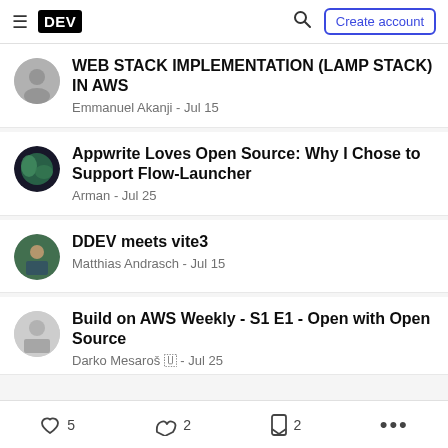DEV | Create account
WEB STACK IMPLEMENTATION (LAMP STACK) IN AWS — Emmanuel Akanji - Jul 15
Appwrite Loves Open Source: Why I Chose to Support Flow-Launcher — Arman - Jul 25
DDEV meets vite3 — Matthias Andrasch - Jul 15
Build on AWS Weekly - S1 E1 - Open with Open Source — Darko Mesaroš 🇺 - Jul 25
5  2  2  ...